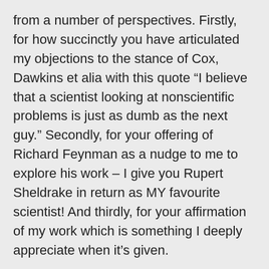from a number of perspectives. Firstly, for how succinctly you have articulated my objections to the stance of Cox, Dawkins et alia with this quote “I believe that a scientist looking at nonscientific problems is just as dumb as the next guy.” Secondly, for your offering of Richard Feynman as a nudge to me to explore his work – I give you Rupert Sheldrake in return as MY favourite scientist! And thirdly, for your affirmation of my work which is something I deeply appreciate when it’s given.
Yes, out of that comfort zone with you!
Incidentally, trans Jupiter is currently on my South Node/IC which is where your